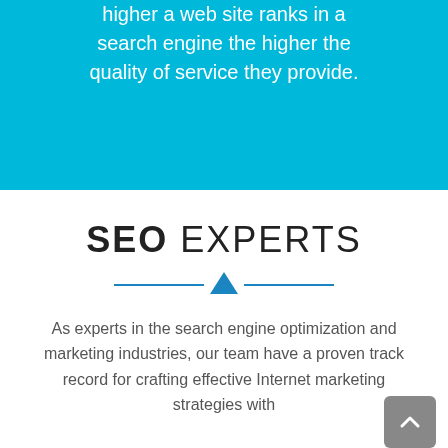higher a web site ranks in a search engine the higher the quality of service they provide.
SEO EXPERTS
[Figure (illustration): Decorative horizontal divider with a triangle/chevron in the center, in blue color]
As experts in the search engine optimization and marketing industries, our team have a proven track record for crafting effective Internet marketing strategies with